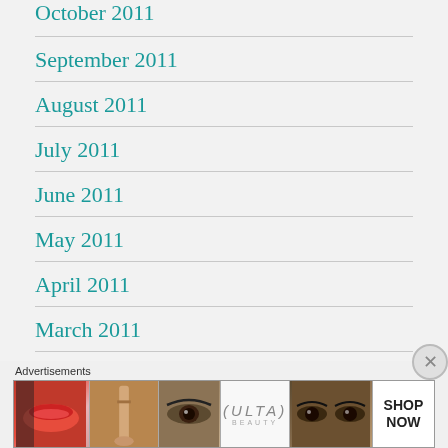October 2011
September 2011
August 2011
July 2011
June 2011
May 2011
April 2011
March 2011
February 2011
January 2011
Advertisements
[Figure (photo): ULTA Beauty advertisement banner showing makeup imagery (lips, brush, eye, logo, eyes) with SHOP NOW call to action]